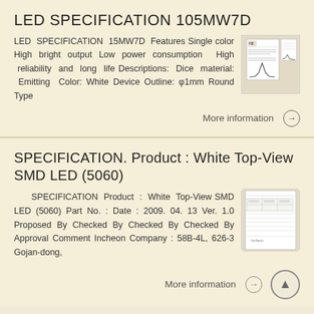LED SPECIFICATION 105MW7D
LED SPECIFICATION 15MW7D Features Single color High bright output Low power consumption High reliability and long life Descriptions: Dice material: Emitting Color: White Device Outline: φ1mm Round Type
[Figure (photo): Thumbnail image of LED specification document with graph]
More information →
SPECIFICATION. Product : White Top-View SMD LED (5060)
SPECIFICATION Product : White Top-View SMD LED (5060) Part No. : Date : 2009. 04. 13 Ver. 1.0 Proposed By Checked By Checked By Checked By Approval Comment Incheon Company : 58B-4L, 626-3 Gojan-dong,
[Figure (photo): Thumbnail image of SMD LED 5060 specification document]
More information →